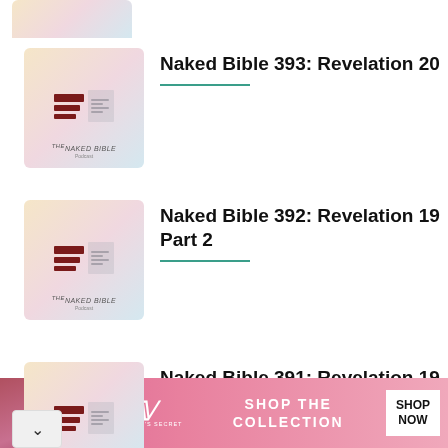[Figure (screenshot): Partial podcast thumbnail for Naked Bible (top, cropped)]
Naked Bible 393: Revelation 20
Naked Bible 392: Revelation 19 Part 2
Naked Bible 391: Revelation 19 Part 1
[Figure (photo): Victoria's Secret advertisement banner with model photo, VS logo, SHOP THE COLLECTION text, and SHOP NOW button]